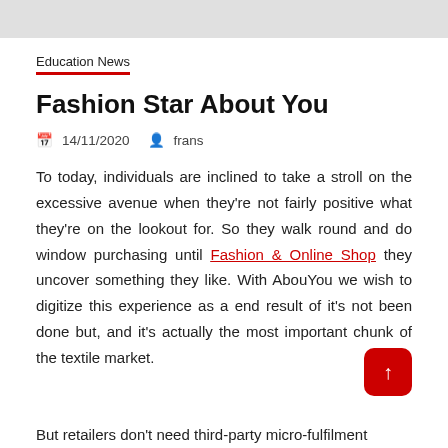Education News
Fashion Star About You
14/11/2020   frans
To today, individuals are inclined to take a stroll on the excessive avenue when they're not fairly positive what they're on the lookout for. So they walk round and do window purchasing until Fashion & Online Shop they uncover something they like. With AbouYou we wish to digitize this experience as a end result of it's not been done but, and it's actually the most important chunk of the textile market.
But retailers don't need third-party micro-fulfilment